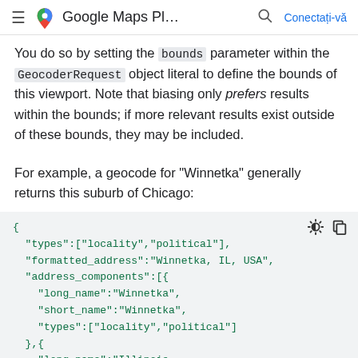≡  Google Maps Pl…  🔍  Conectați-vă
You do so by setting the bounds parameter within the GeocoderRequest object literal to define the bounds of this viewport. Note that biasing only prefers results within the bounds; if more relevant results exist outside of these bounds, they may be included.
For example, a geocode for "Winnetka" generally returns this suburb of Chicago:
[Figure (screenshot): Code block showing JSON geocode result for Winnetka with types, formatted_address, address_components including long_name, short_name, types fields, in green monospace on light grey background]